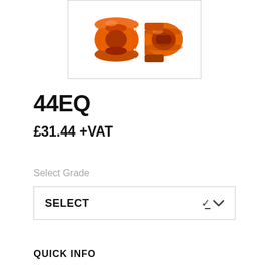[Figure (photo): Two orange plastic bushings or conduit fittings — one cylindrical spool shape and one with a threaded/mounting end — against a white background with a light gray border.]
44EQ
£31.44 +VAT
Select Grade
SELECT
QUICK INFO